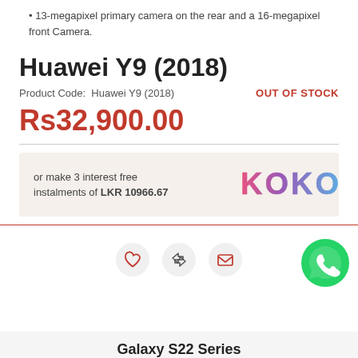13-megapixel primary camera on the rear and a 16-megapixel front Camera.
Huawei Y9 (2018)
Product Code: Huawei Y9 (2018)   OUT OF STOCK
Rs32,900.00
or make 3 interest free instalments of LKR 10966.67
[Figure (logo): KOKO logo in pink/purple/blue gradient text]
[Figure (logo): WhatsApp green circle icon with phone handset]
[Figure (infographic): Three icon circles: heart (wishlist), arrows (compare), envelope (email)]
Galaxy S22 Series